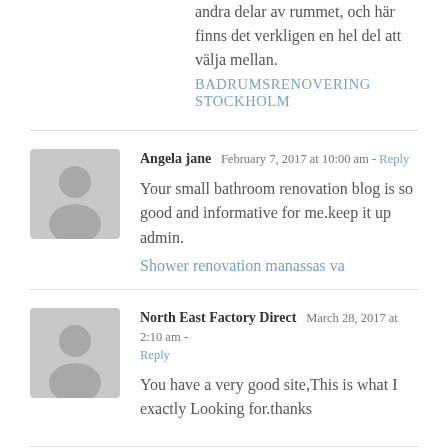andra delar av rummet, och här finns det verkligen en hel del att välja mellan.
BADRUMSRENOVERING STOCKHOLM
Angela jane  February 7, 2017 at 10:00 am - Reply
Your small bathroom renovation blog is so good and informative for me.keep it up admin.
Shower renovation manassas va
North East Factory Direct  March 28, 2017 at 2:10 am - Reply
You have a very good site,This is what I exactly Looking for.thanks